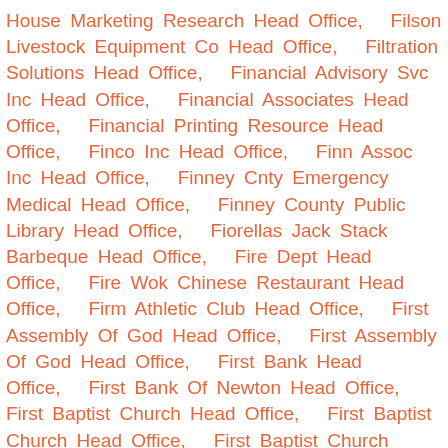House Marketing Research Head Office,   Filson Livestock Equipment Co Head Office,   Filtration Solutions Head Office,   Financial Advisory Svc Inc Head Office,   Financial Associates Head Office,   Financial Printing Resource Head Office,   Finco Inc Head Office,   Finn Assoc Inc Head Office,   Finney Cnty Emergency Medical Head Office,   Finney County Public Library Head Office,   Fiorellas Jack Stack Barbeque Head Office,   Fire Dept Head Office,   Fire Wok Chinese Restaurant Head Office,   Firm Athletic Club Head Office,   First Assembly Of God Head Office,   First Assembly Of God Head Office,   First Bank Head Office,   First Bank Of Newton Head Office,   First Baptist Church Head Office,   First Baptist Church Head Office,   First Baptist Church Head Office,   First Baptist Church Head Office,   First Baptist Church Head